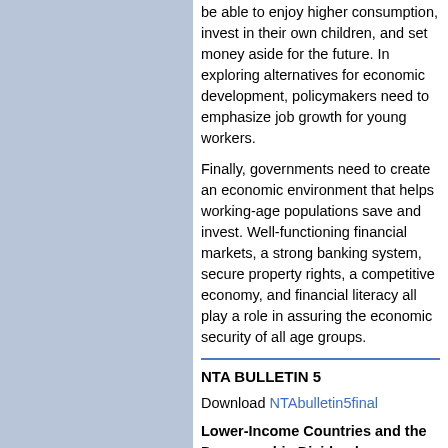be able to enjoy higher consumption, invest in their own children, and set money aside for the future. In exploring alternatives for economic development, policymakers need to emphasize job growth for young workers.
Finally, governments need to create an economic environment that helps working-age populations save and invest. Well-functioning financial markets, a strong banking system, secure property rights, a competitive economy, and financial literacy all play a role in assuring the economic security of all age groups.
NTA BULLETIN 5
Download NTAbulletin5final
Lower-Income Countries and the Demographic Dividend
NTA Bulletin, No. 5, December 2012
Over the past 60 years, population age